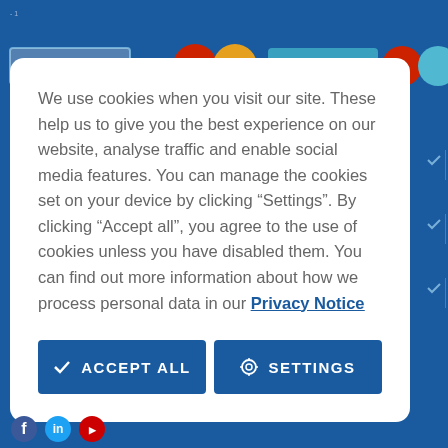We use cookies when you visit our site. These help us to give you the best experience on our website, analyse traffic and enable social media features. You can manage the cookies set on your device by clicking “Settings”. By clicking “Accept all”, you agree to the use of cookies unless you have disabled them. You can find out more information about how we process personal data in our Privacy Notice